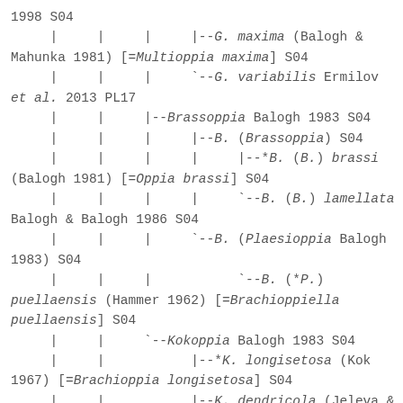1998 S04
     |     |     |     |--G. maxima (Balogh & Mahunka 1981) [=Multioppia maxima] S04
     |     |     |     `--G. variabilis Ermilov et al. 2013 PL17
     |     |     |--Brassoppia Balogh 1983 S04
     |     |     |     |--B. (Brassoppia) S04
     |     |     |     |     |--*B. (B.) brassi (Balogh 1981) [=Oppia brassi] S04
     |     |     |     |     `--B. (B.) lamellata Balogh & Balogh 1986 S04
     |     |     |     `--B. (Plaesioppia Balogh 1983) S04
     |     |     |           `--B. (*P.) puellaensis (Hammer 1962) [=Brachioppiella puellaensis] S04
     |     |     `--Kokoppia Balogh 1983 S04
     |     |           |--*K. longisetosa (Kok 1967) [=Brachioppia longisetosa] S04
     |     |           |--K. dendricola (Jeleva & Vu 1987) [=Cryptoppia dendricola] S04